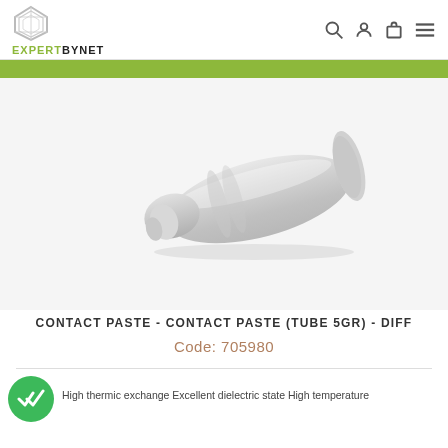EXPERTBYNET
[Figure (photo): A white/translucent tube of contact paste product, lying diagonally on a white/light grey background]
CONTACT PASTE - CONTACT PASTE (TUBE 5GR) - DIFF
Code: 705980
High thermic exchange Excellent dielectric state High temperature